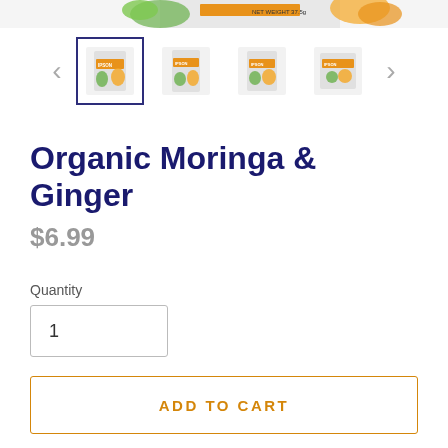[Figure (photo): Partial top view of a product box (Organic Moringa & Ginger tea) showing NET WEIGHT 37.5g label and vegetable graphics]
[Figure (photo): Horizontal thumbnail carousel with left and right navigation arrows and four product thumbnail images, the first one with an active border]
Organic Moringa & Ginger
$6.99
Quantity
1
ADD TO CART